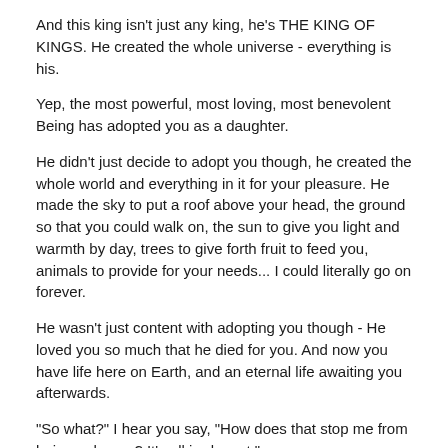And this king isn't just any king, he's THE KING OF KINGS. He created the whole universe - everything is his.
Yep, the most powerful, most loving, most benevolent Being has adopted you as a daughter.
He didn't just decide to adopt you though, he created the whole world and everything in it for your pleasure. He made the sky to put a roof above your head, the ground so that you could walk on, the sun to give you light and warmth by day, trees to give forth fruit to feed you, animals to provide for your needs... I could literally go on forever.
He wasn't just content with adopting you though - He loved you so much that he died for you. And now you have life here on Earth, and an eternal life awaiting you afterwards.
"So what?" I hear you say, "How does that stop me from being unhappy? It's all irrelevant."
He has blessed you with so, so many blessings that you might have forgotten about.
Do you have need of any material or immaterial thing? Do you need or want anything at all?